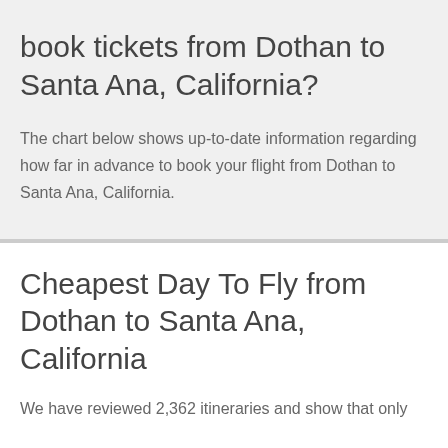book tickets from Dothan to Santa Ana, California?
The chart below shows up-to-date information regarding how far in advance to book your flight from Dothan to Santa Ana, California.
Cheapest Day To Fly from Dothan to Santa Ana, California
We have reviewed 2,362 itineraries and show that only